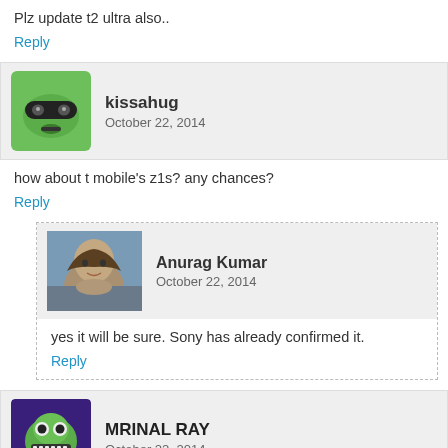Plz update t2 ultra also..
Reply
[Figure (illustration): Green cartoon avatar with sunglasses]
kissahug
October 22, 2014
how about t mobile’s z1s? any chances?
Reply
[Figure (photo): Photo of a person sitting outdoors in snow]
Anurag Kumar
October 22, 2014
yes it will be sure. Sony has already confirmed it.
Reply
[Figure (illustration): Green cartoon avatar with angry face in dark purple square]
MRINAL RAY
October 22, 2014